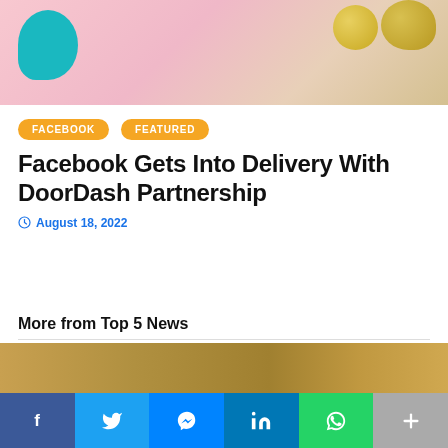[Figure (photo): Hero image showing a pink/blush background with a teal chair and yellow/gold spherical objects]
FACEBOOK   FEATURED
Facebook Gets Into Delivery With DoorDash Partnership
August 18, 2022
More from Top 5 News
[Figure (photo): Partially visible image at the bottom of the page with golden/warm tones]
[Figure (infographic): Social sharing bar with Facebook, Twitter, Messenger, LinkedIn, WhatsApp, and More buttons]